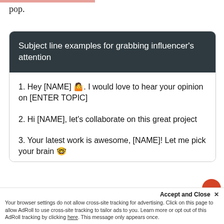pop.
Subject line examples for grabbing influencer's attention
1. Hey [NAME] 🤷. I would love to hear your opinion on [ENTER TOPIC]
2. Hi [NAME], let's collaborate on this great project
3. Your latest work is awesome, [NAME]! Let me pick your brain 🤓
Accept and Close ✕
Your browser settings do not allow cross-site tracking for advertising. Click on this page to allow AdRoll to use cross-site tracking to tailor ads to you. Learn more or opt out of this AdRoll tracking by clicking here. This message only appears once.